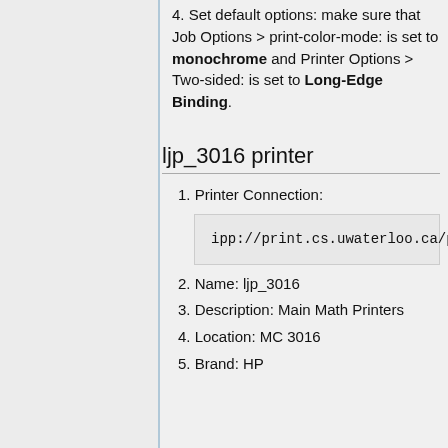4. Set default options: make sure that Job Options > print-color-mode: is set to monochrome and Printer Options > Two-sided: is set to Long-Edge Binding.
ljp_3016 printer
1. Printer Connection:
ipp://print.cs.uwaterloo.ca/printers/ljp_3016
2. Name: ljp_3016
3. Description: Main Math Printers
4. Location: MC 3016
5. Brand: HP